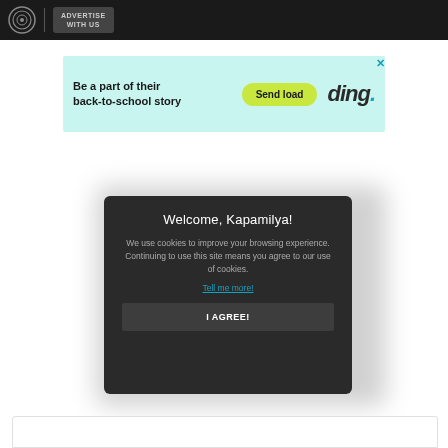ADVERTISE WITH US
[Figure (screenshot): Advertisement banner for 'ding' service with cyan background. Text: 'Be a part of their back-to-school story'. Yellow button labeled 'Send load'. Ding logo on right.]
Welcome, Kapamilya!
We use cookies to improve your browsing experience. Continuing to use this site means you agree to our use of cookies.
Tell me more!
I AGREE!